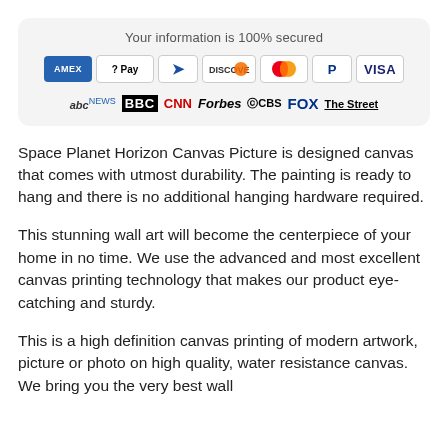[Figure (infographic): Security badge showing 'Your information is 100% secured' with payment method icons (AMEX, Apple Pay, Diners, Discover, Mastercard, PayPal, VISA) and media logos (ABC News, BBC, CNN, Forbes, CBS, FOX, The Street)]
Space Planet Horizon Canvas Picture is designed canvas that comes with utmost durability. The painting is ready to hang and there is no additional hanging hardware required.
This stunning wall art will become the centerpiece of your home in no time. We use the advanced and most excellent canvas printing technology that makes our product eye-catching and sturdy.
This is a high definition canvas printing of modern artwork, picture or photo on high quality, water resistance canvas. We bring you the very best wall